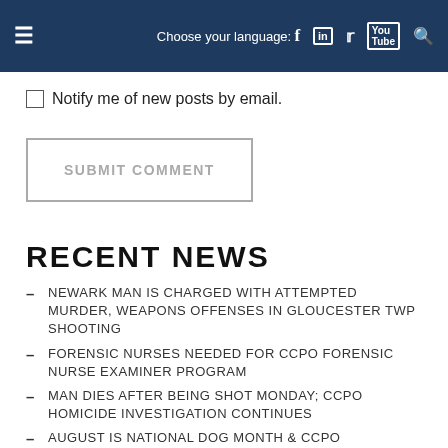Choose your language: [hamburger] [facebook] [linkedin] [twitter] [youtube] [search]
Notify me of new posts by email.
SUBMIT COMMENT
RECENT NEWS
NEWARK MAN IS CHARGED WITH ATTEMPTED MURDER, WEAPONS OFFENSES IN GLOUCESTER TWP SHOOTING
FORENSIC NURSES NEEDED FOR CCPO FORENSIC NURSE EXAMINER PROGRAM
MAN DIES AFTER BEING SHOT MONDAY; CCPO HOMICIDE INVESTIGATION CONTINUES
AUGUST IS NATIONAL DOG MONTH & CCPO RECOGNIZES ITS 2 CANINE TEAM MEMBERS
CHERRY HILL MAN CHARGED WITH AGGRAVATED